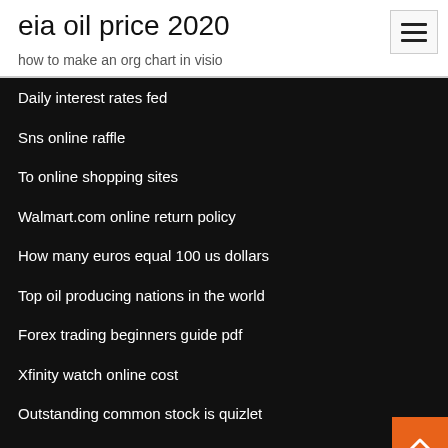eia oil price 2020
how to make an org chart in visio
Daily interest rates fed
Sns online raffle
To online shopping sites
Walmart.com online return policy
How many euros equal 100 us dollars
Top oil producing nations in the world
Forex trading beginners guide pdf
Xfinity watch online cost
Outstanding common stock is quizlet
Online movies bollywood